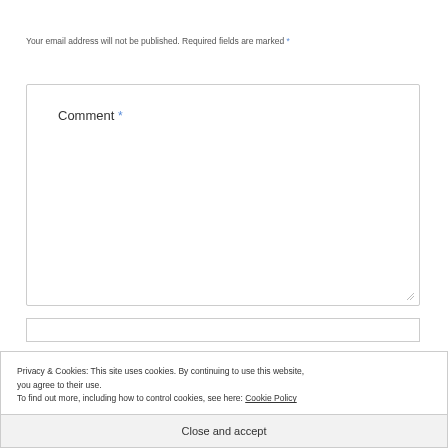Your email address will not be published. Required fields are marked *
[Figure (screenshot): Comment text area input box with label 'Comment *']
Privacy & Cookies: This site uses cookies. By continuing to use this website, you agree to their use.
To find out more, including how to control cookies, see here: Cookie Policy
Close and accept